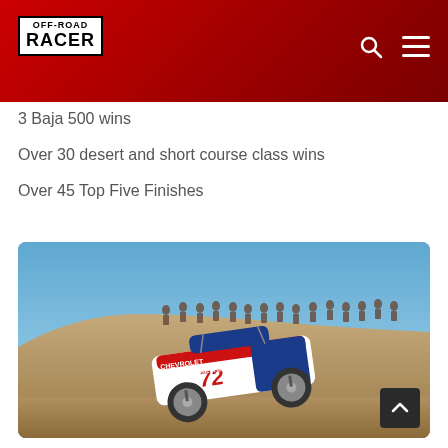OFF-ROAD RACER
3 Baja 500 wins
Over 30 desert and short course class wins
Over 45 Top Five Finishes
[Figure (photo): Off-road race truck number 72 (Chevrolet, Team MacPherson) airborne over a dirt mound at a desert race, with spectators watching from the top of a ridge in the background under a blue sky.]